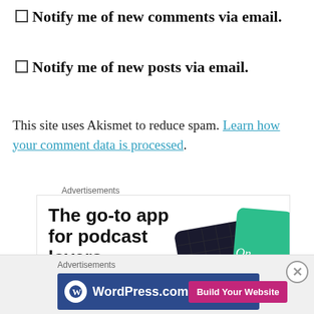Notify me of new comments via email.
Notify me of new posts via email.
This site uses Akismet to reduce spam. Learn how your comment data is processed.
Advertisements
[Figure (infographic): Advertisement banner: 'The go-to app for podcast lovers. Download now' with app card imagery on the right]
Advertisements
[Figure (infographic): WordPress.com advertisement bar with logo and 'Build Your Website' button]